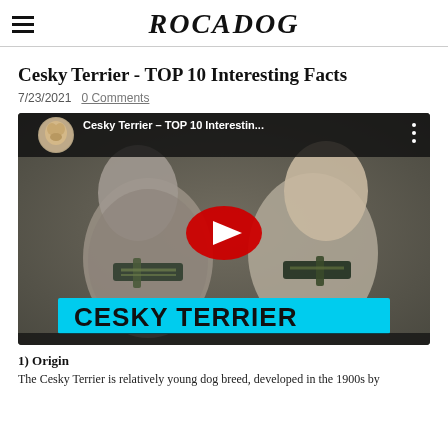ROCADOG
Cesky Terrier - TOP 10 Interesting Facts
7/23/2021  0 Comments
[Figure (screenshot): YouTube video thumbnail showing two Cesky Terrier dogs wearing harnesses, with a YouTube play button overlay and the title 'Cesky Terrier - TOP 10 Interestin...' at the top, and a cyan banner at the bottom reading 'CESKY TERRIER']
1) Origin
The Cesky Terrier is relatively young dog breed, developed in the 1900s by